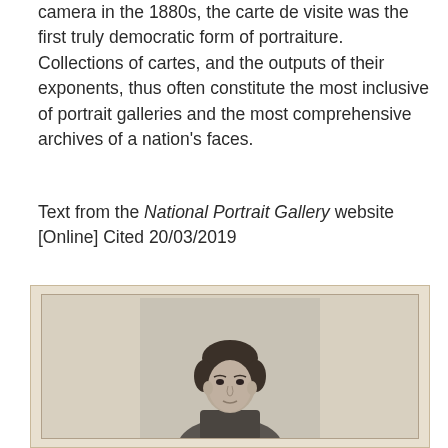camera in the 1880s, the carte de visite was the first truly democratic form of portraiture. Collections of cartes, and the outputs of their exponents, thus often constitute the most inclusive of portrait galleries and the most comprehensive archives of a nation's faces.
Text from the National Portrait Gallery website [Online] Cited 20/03/2019
[Figure (photo): A historic black and white carte de visite style photograph of a young man with dark curly hair, wearing formal Victorian-era clothing, shown from roughly the chest up, mounted on a light cardboard backing.]